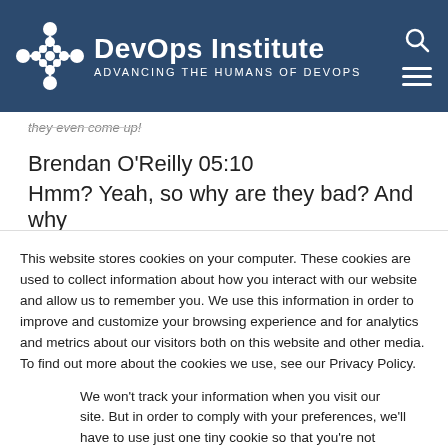[Figure (logo): DevOps Institute logo with circular interconnected nodes icon, white on dark blue background, with text 'DevOps Institute' and subtitle 'ADVANCING THE HUMANS OF DEVOPS']
they even come up!
Brendan O'Reilly 05:10
Hmm? Yeah, so why are they bad? And why
This website stores cookies on your computer. These cookies are used to collect information about how you interact with our website and allow us to remember you. We use this information in order to improve and customize your browsing experience and for analytics and metrics about our visitors both on this website and other media. To find out more about the cookies we use, see our Privacy Policy.
We won't track your information when you visit our site. But in order to comply with your preferences, we'll have to use just one tiny cookie so that you're not asked to make this choice again.